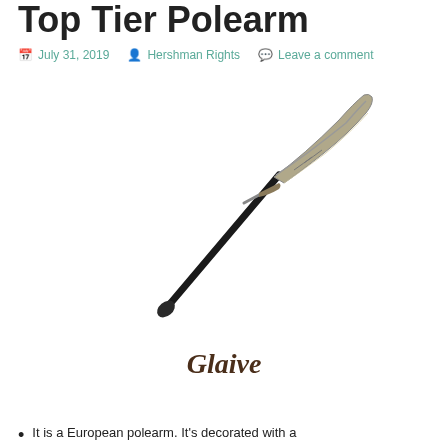Top Tier Polearm
July 31, 2019   Hershman Rights   Leave a comment
[Figure (photo): A glaive weapon — a European polearm with a long black pole and a curved blade at the top, shown diagonally from bottom-left to top-right.]
Glaive
It is a European polearm. It's decorated with a